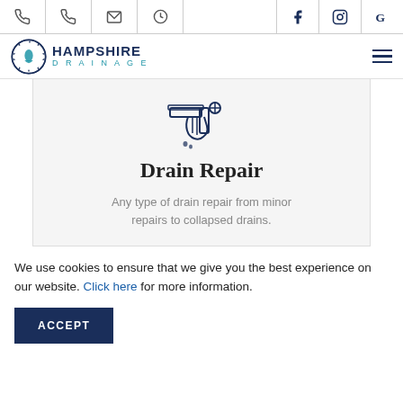Top navigation bar with phone, email, clock icons and Facebook, Instagram, Google icons
[Figure (logo): Hampshire Drainage logo with blue droplet/wrench icon and text HAMPSHIRE DRAINAGE]
[Figure (illustration): Icon of a pipe with a hand and water drops representing drain repair]
Drain Repair
Any type of drain repair from minor repairs to collapsed drains.
We use cookies to ensure that we give you the best experience on our website. Click here for more information.
ACCEPT